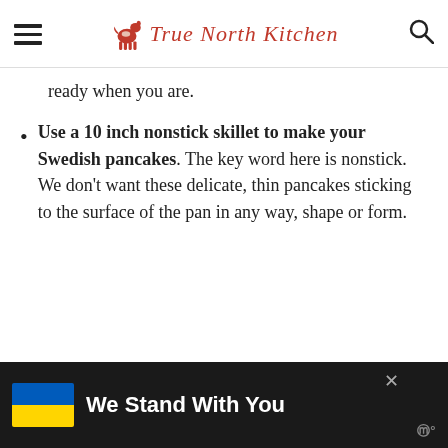True North Kitchen
ready when you are.
Use a 10 inch nonstick skillet to make your Swedish pancakes. The key word here is nonstick. We don't want these delicate, thin pancakes sticking to the surface of the pan in any way, shape or form.
We Stand With You